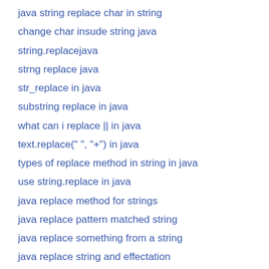java string replace char in string
change char insude string java
string.replacejava
strng replace java
str_replace in java
substring replace in java
what can i replace || in java
text.replace(" ", "+") in java
types of replace method in string in java
use string.replace in java
java replace method for strings
java replace pattern matched string
java replace something from a string
java replace string and effectation